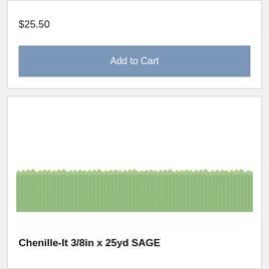$25.50
Add to Cart
[Figure (photo): A green fabric ribbon/trim swatch (Chenille-It 3/8in x 25yd SAGE) shown horizontally with frayed edges on top and bottom]
Chenille-It 3/8in x 25yd SAGE